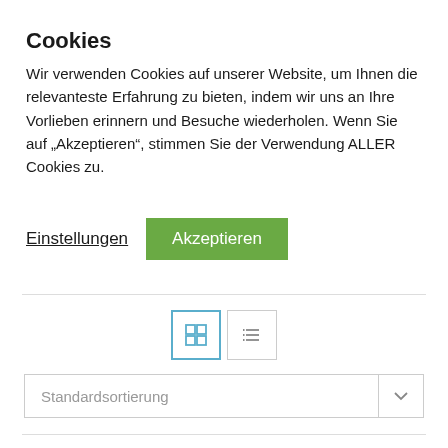Cookies
Wir verwenden Cookies auf unserer Website, um Ihnen die relevanteste Erfahrung zu bieten, indem wir uns an Ihre Vorlieben erinnern und Besuche wiederholen. Wenn Sie auf „Akzeptieren“, stimmen Sie der Verwendung ALLER Cookies zu.
Einstellungen   Akzeptieren
[Figure (screenshot): Toolbar with grid view button (blue border, active) and list view button (grey border)]
Standardsortierung
inkl. MwSt.